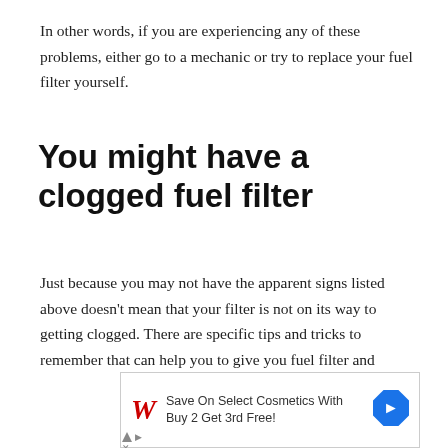In other words, if you are experiencing any of these problems, either go to a mechanic or try to replace your fuel filter yourself.
You might have a clogged fuel filter
Just because you may not have the apparent signs listed above doesn't mean that your filter is not on its way to getting clogged. There are specific tips and tricks to remember that can help you to give you fuel filter and
[Figure (other): Advertisement banner for Walgreens: 'Save On Select Cosmetics With Buy 2 Get 3rd Free!' with Walgreens logo and blue navigation arrow icon]